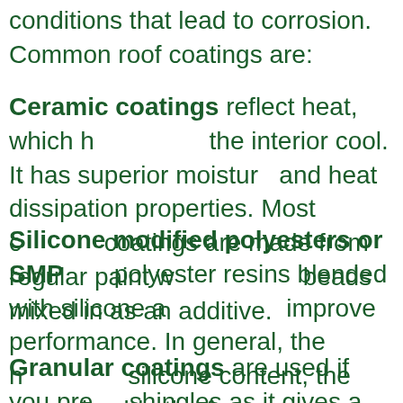conditions that lead to corrosion. Common roof coatings are:
Ceramic coatings reflect heat, which helps keep the interior cool. It has superior moisture and heat dissipation properties. Most ceramic coatings are made from regular paint with beads mixed in as an additive.
Silicone modified polyesters or SMP are polyester resins blended with silicone additives to improve performance. In general, the higher the silicone content, the more durable the finish.
Granular coatings are used if you prefer shingles as it gives a textured finish. It consists of crushed stones and granules and can...